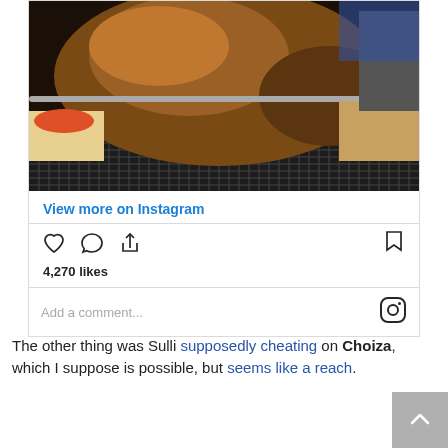[Figure (photo): Photo of a large roasted meat (lamb or pig) on a grill rack in a restaurant setting, with dishes and food visible in background]
View more on Instagram
4,270 likes
Add a comment...
The other thing was Sulli supposedly cheating on Choiza, which I suppose is possible, but seems like a reach.